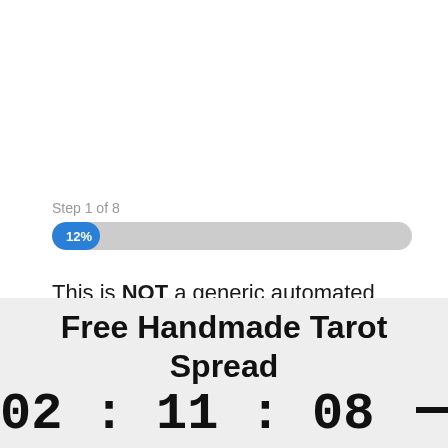Step 1 of 8
[Figure (infographic): A horizontal progress bar at 12% completion, showing a blue filled portion on the left with a '12%' white label, and a gray unfilled portion on the right.]
This is NOT a generic automated tarot quiz. This is a custom made tarot reading done by
Free Handmade Tarot Spread
02 : 11 : 08 ——